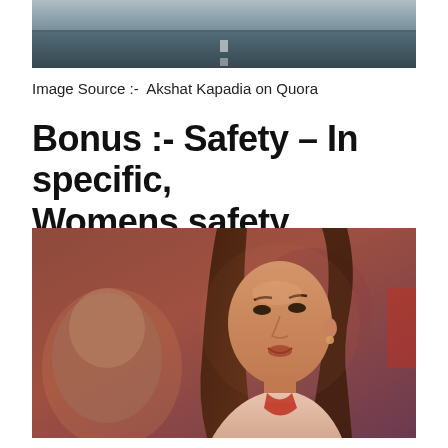[Figure (photo): Top portion of a road/highway photo, cropped, dark asphalt with lane markings visible]
Image Source :-  Akshat Kapadia on Quora
Bonus :- Safety – In specific, Womens safety
[Figure (photo): A young woman with long brown hair looking upward and smiling, wearing a light pink top with a red scarf, in a blurred urban background with warm reddish tones]